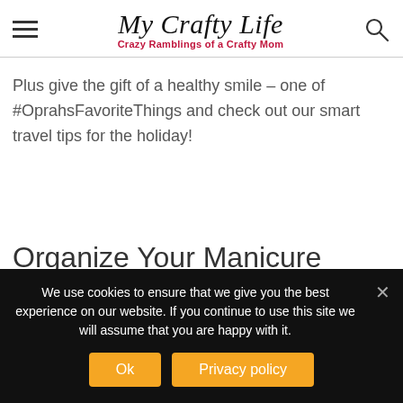My Crafty Life — Crazy Ramblings of a Crafty Mom
Plus give the gift of a healthy smile – one of #OprahsFavoriteThings and check out our smart travel tips for the holiday!
Organize Your Manicure
We use cookies to ensure that we give you the best experience on our website. If you continue to use this site we will assume that you are happy with it.